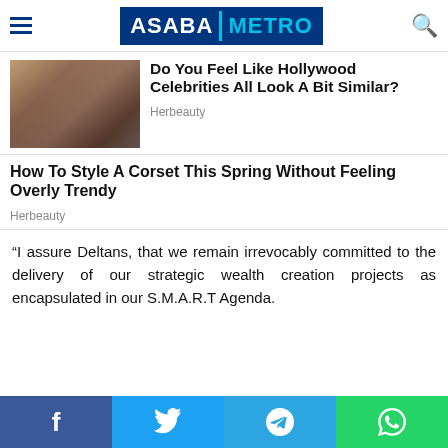ASABA METRO
Do You Feel Like Hollywood Celebrities All Look A Bit Similar?
Herbeauty
How To Style A Corset This Spring Without Feeling Overly Trendy
Herbeauty
“I assure Deltans, that we remain irrevocably committed to the delivery of our strategic wealth creation projects as encapsulated in our S.M.A.R.T Agenda.
f  Twitter  Telegram  WhatsApp